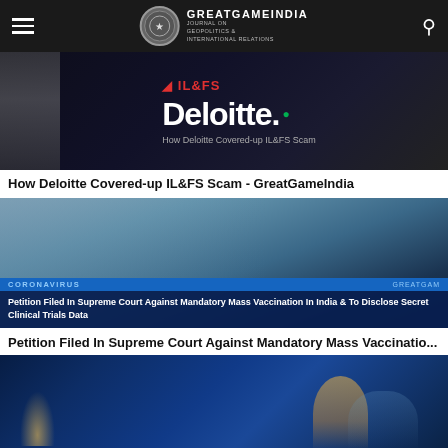GREATGAMEINDIA — Journal on Geopolitics & International Relations
[Figure (photo): Dark background image showing Deloitte logo with IL&FS branding and text 'How Deloitte Covered-up IL&FS Scam']
How Deloitte Covered-up IL&FS Scam - GreatGameIndia
[Figure (photo): Composite image showing coronavirus particles and a person being vaccinated, with overlay text: CORONAVIRUS / GREATGAM / Petition Filed In Supreme Court Against Mandatory Mass Vaccination In India & To Disclose Secret Clinical Trials Data]
Petition Filed In Supreme Court Against Mandatory Mass Vaccinatio...
[Figure (photo): Night scene showing a person sitting up in bed in a blue-lit bedroom with a lamp on the bedside table]
[Figure (photo): Partial bottom image strip, partially visible]